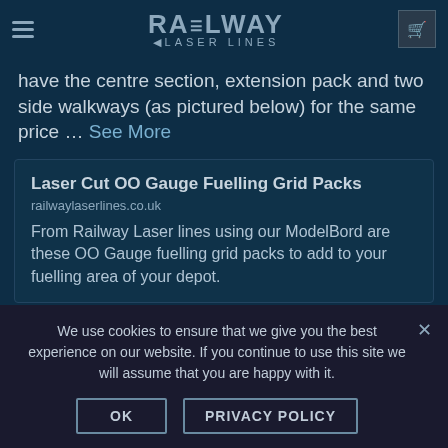RAILWAY LASER LINES
have the centre section, extension pack and two side walkways (as pictured below) for the same price … See More
Laser Cut OO Gauge Fuelling Grid Packs
railwaylaserlines.co.uk
From Railway Laser lines using our ModelBord are these OO Gauge fuelling grid packs to add to your fuelling area of your depot.
View on Facebook · Share
We use cookies to ensure that we give you the best experience on our website. If you continue to use this site we will assume that you are happy with it.
OK    PRIVACY POLICY